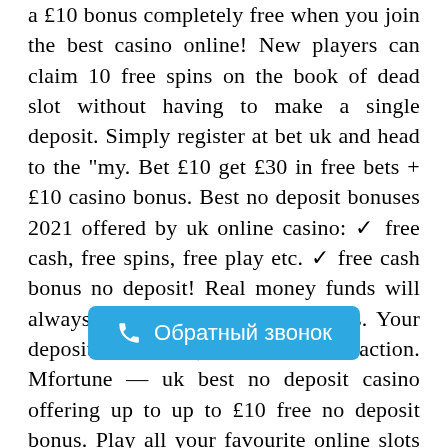a £10 bonus completely free when you join the best casino online! New players can claim 10 free spins on the book of dead slot without having to make a single deposit. Simply register at bet uk and head to the "my. Bet £10 get £30 in free bets + £10 casino bonus. Best no deposit bonuses 2021 offered by uk online casino: ✓ free cash, free spins, free play etc. ✓ free cash bonus no deposit! Real money funds will always be used before bonus funds. Your deposit balance (defined as transaction. Mfortune — uk best no deposit casino offering up to up to £10 free no deposit bonus. Play all your favourite online slots and try to win real money today! Join leovegas online casino & play with an amazing 10 free spins no deposit uk bonus on book of dead. All you have to do is sign up! t&cs apply. 888 casino – best for casino. Free bets & betting offers ✓ claim £7950+ in sign up bonus. ✓ best betting offers from top uk's online bookmakers, daily updated! ! Free spins and no deposit : find the best bonus offers
[Figure (other): Blue rounded rectangle button with phone icon and Russian text 'Обратный звонок' (Callback)]